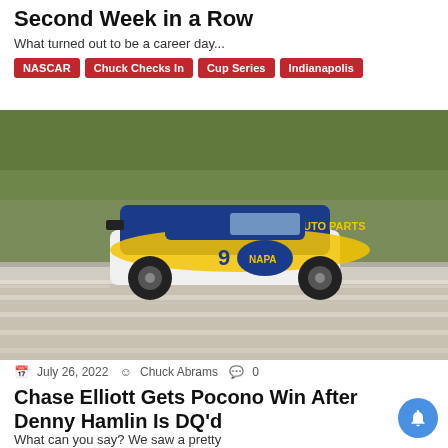Second Week in a Row
What turned out to be a career day...
NASCAR
Chuck Checks In
Cup Series
Indianapolis
[Figure (photo): NASCAR car number 9 NAPA Auto Parts car racing on track, motion blur background]
July 26, 2022  Chuck Abrams  0
Chase Elliott Gets Pocono Win After Denny Hamlin Is DQ'd
What can you say? We saw a pretty